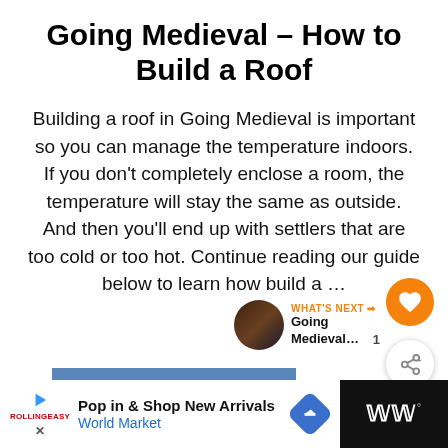Going Medieval – How to Build a Roof
Building a roof in Going Medieval is important so you can manage the temperature indoors. If you don't completely enclose a room, the temperature will stay the same as outside. And then you'll end up with settlers that are too cold or too hot. Continue reading our guide below to learn how build a …
READ MORE
[Figure (infographic): WHAT'S NEXT arrow panel with circular thumbnail of Going Medieval game image and text 'Going Medieval...']
[Figure (infographic): Orange circular heart/like button with heart icon, and white circular share button with share icon, and count '1']
[Figure (infographic): Bottom advertisement bar: 'Pop in & Shop New Arrivals / World Market' with blue diamond arrow icon, and dark right section with W logo]